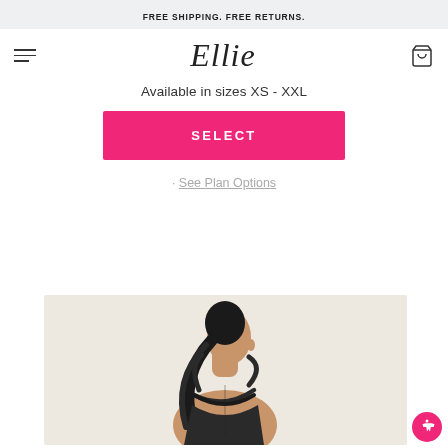FREE SHIPPING. FREE RETURNS.
[Figure (logo): Ellie script logo with hamburger menu and cart icon]
Available in sizes XS - XXL
SELECT
· See Plan Options
[Figure (photo): Woman viewed from behind wearing black athletic wear with cross-back straps, dark ponytail, light background]